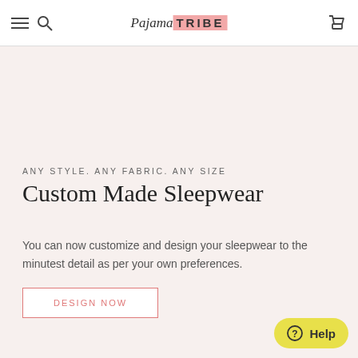PajamaTRIBE — navigation header with hamburger, search, logo, and cart icons
ANY STYLE.  ANY FABRIC.  ANY SIZE
Custom Made Sleepwear
You can now customize and design your sleepwear to the minutest detail as per your own preferences.
DESIGN NOW
Help